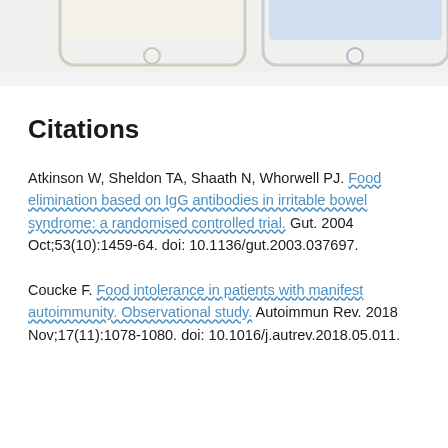[Figure (illustration): Top portion of two tablet/phone device illustrations side by side, partially cropped at the top of the page. Left device has a beige/cream colored screen, right device has a light blue colored screen.]
Citations
Atkinson W, Sheldon TA, Shaath N, Whorwell PJ. Food elimination based on IgG antibodies in irritable bowel syndrome: a randomised controlled trial. Gut. 2004 Oct;53(10):1459-64. doi: 10.1136/gut.2003.037697.
Coucke F. Food intolerance in patients with manifest autoimmunity. Observational study. Autoimmun Rev. 2018 Nov;17(11):1078-1080. doi: 10.1016/j.autrev.2018.05.011.